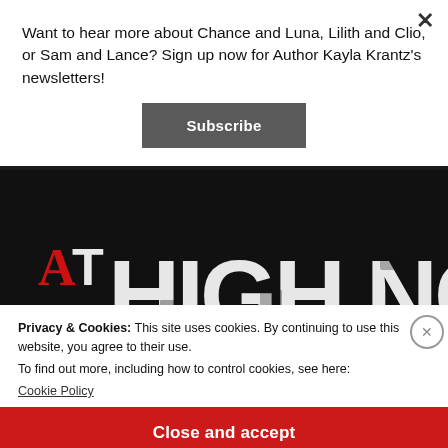Want to hear more about Chance and Luna, Lilith and Clio, or Sam and Lance? Sign up now for Author Kayla Krantz's newsletters!
[Figure (illustration): Book cover image showing large distressed white text 'AT HIGH NOON' on a dark/black background. The letters A and T appear in a smaller decorative serif font at the top left, with A in red.]
Privacy & Cookies: This site uses cookies. By continuing to use this website, you agree to their use. To find out more, including how to control cookies, see here:
Cookie Policy